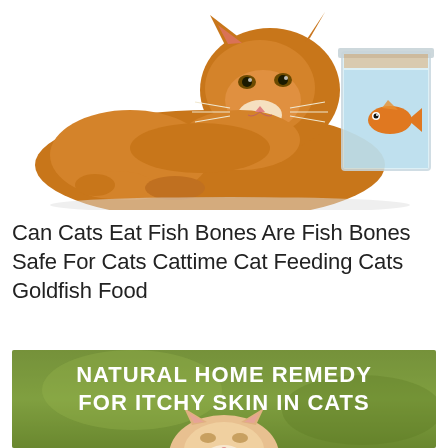[Figure (photo): Orange/ginger fluffy cat lying down looking at a goldfish in a clear square glass fish tank/bowl on a white background]
Can Cats Eat Fish Bones Are Fish Bones Safe For Cats Cattime Cat Feeding Cats Goldfish Food
[Figure (photo): Close-up of a cat's face looking up against a blurred green background with white bold text overlay reading 'NATURAL HOME REMEDY FOR ITCHY SKIN IN CATS']